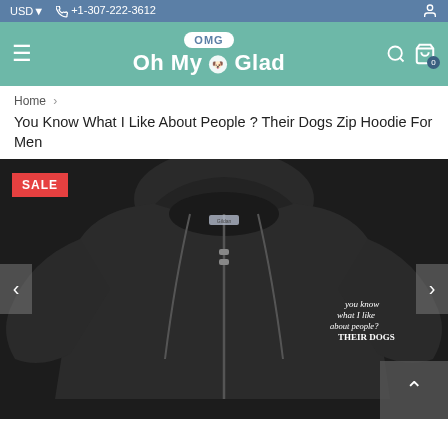USD  +1-307-222-3612
[Figure (logo): Oh My Glad logo with OMG speech bubble and dog icon, on teal background with hamburger menu, search, and cart icons]
Home › You Know What I Like About People ? Their Dogs Zip Hoodie For Men
[Figure (photo): Black zip hoodie product photo with white embroidered text reading 'you know what I like about people? their dogs' on the left chest. SALE badge in top left corner. Navigation arrows on sides.]